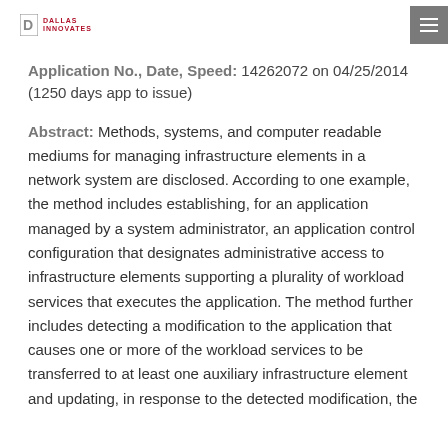Dallas Innovates
Application No., Date, Speed: 14262072 on 04/25/2014 (1250 days app to issue)
Abstract: Methods, systems, and computer readable mediums for managing infrastructure elements in a network system are disclosed. According to one example, the method includes establishing, for an application managed by a system administrator, an application control configuration that designates administrative access to infrastructure elements supporting a plurality of workload services that executes the application. The method further includes detecting a modification to the application that causes one or more of the workload services to be transferred to at least one auxiliary infrastructure element and updating, in response to the detected modification, the